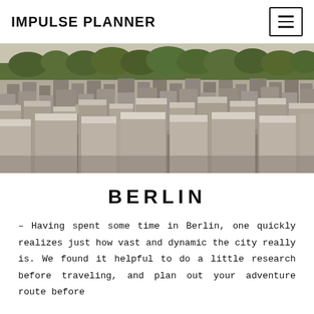IMPULSE PLANNER
[Figure (photo): Aerial/perspective view of the Memorial to the Murdered Jews of Europe in Berlin — rows of grey concrete stelae of varying heights stretching across a wide area, with green trees visible in the background.]
BERLIN
– Having spent some time in Berlin, one quickly realizes just how vast and dynamic the city really is. We found it helpful to do a little research before traveling, and plan out your adventure route before